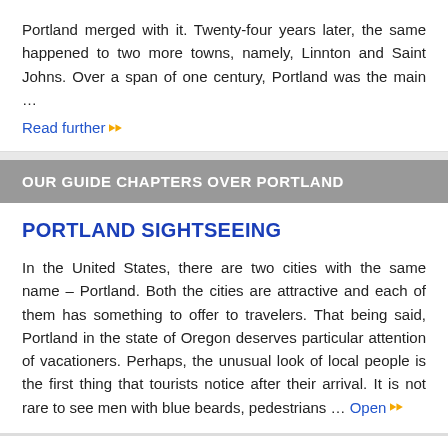Portland merged with it. Twenty-four years later, the same happened to two more towns, namely, Linnton and Saint Johns. Over a span of one century, Portland was the main … Read further »»
OUR GUIDE CHAPTERS OVER PORTLAND
PORTLAND SIGHTSEEING
In the United States, there are two cities with the same name – Portland. Both the cities are attractive and each of them has something to offer to travelers. That being said, Portland in the state of Oregon deserves particular attention of vacationers. Perhaps, the unusual look of local people is the first thing that tourists notice after their arrival. It is not rare to see men with blue beards, pedestrians … Open »»
DETAILED MAPS OF NEIGHBOURING CITIES TO PORTLAND